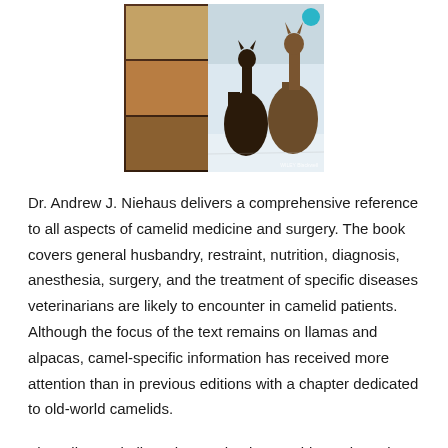[Figure (photo): Book cover showing llamas/alpacas on a dark brown background with a grid of smaller animal photos on the left side and a Wiley Blackwell logo/badge in the corner]
Dr. Andrew J. Niehaus delivers a comprehensive reference to all aspects of camelid medicine and surgery. The book covers general husbandry, restraint, nutrition, diagnosis, anesthesia, surgery, and the treatment of specific diseases veterinarians are likely to encounter in camelid patients. Although the focus of the text remains on llamas and alpacas, camel-specific information has received more attention than in previous editions with a chapter dedicated to old-world camelids.
The editor revitalizes the emphasis on evidence-based